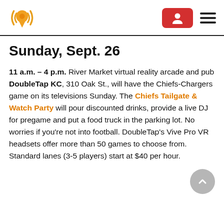[Figure (logo): Orange location pin with radio wave signals logo on the left; red account button and hamburger menu on the right in header]
Sunday, Sept. 26
11 a.m. – 4 p.m. River Market virtual reality arcade and pub DoubleTap KC, 310 Oak St., will have the Chiefs-Chargers game on its televisions Sunday. The Chiefs Tailgate & Watch Party will pour discounted drinks, provide a live DJ for pregame and put a food truck in the parking lot. No worries if you're not into football. DoubleTap's Vive Pro VR headsets offer more than 50 games to choose from. Standard lanes (3-5 players) start at $40 per hour.